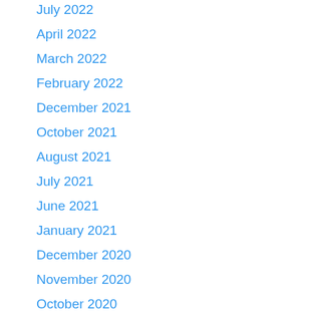July 2022
April 2022
March 2022
February 2022
December 2021
October 2021
August 2021
July 2021
June 2021
January 2021
December 2020
November 2020
October 2020